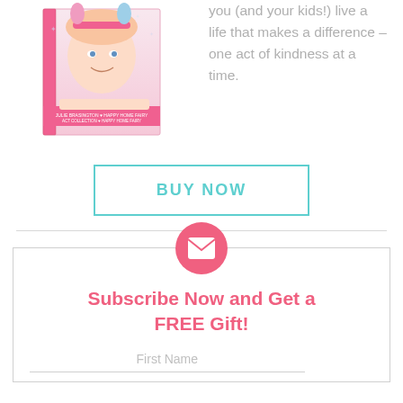[Figure (photo): Book cover showing a young girl with pink bunny ears headband, smiling. Book is by Julie Brasington / Happy Home Fairy.]
you (and your kids!) live a life that makes a difference – one act of kindness at a time.
BUY NOW
[Figure (illustration): Pink circle with white envelope/mail icon inside]
Subscribe Now and Get a FREE Gift!
First Name